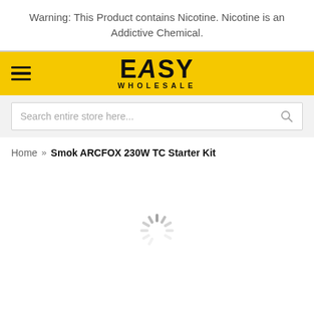Warning: This Product contains Nicotine. Nicotine is an Addictive Chemical.
[Figure (logo): Easy Wholesale logo with hamburger menu icon on yellow background]
[Figure (screenshot): Search bar with placeholder text 'Search entire store here...' and search icon]
Home » Smok ARCFOX 230W TC Starter Kit
[Figure (other): Loading spinner animation (gray radial lines indicating page loading)]